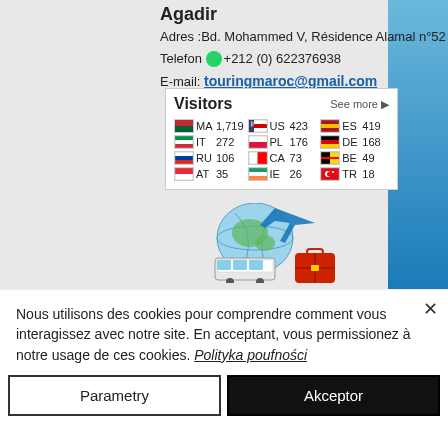Agadir
Adres :Bd. Mohammed V, Résidence Alamal n°52
Telefon: +212 (0) 622376938
E-mail: touringmaroc@gmail.com
[Figure (infographic): Visitors widget showing country visitor counts: MA 1,719 | US 423 | ES 419 | IT 272 | PL 176 | DE 168 | RU 106 | CA 73 | BE 49 | AT 35 | IE 26 | TR 18]
[Figure (illustration): Travel illustration with globe, airplane, bus, and red suitcase]
Nous utilisons des cookies pour comprendre comment vous interagissez avec notre site. En acceptant, vous permissionez à notre usage de ces cookies. Polityka poufności
Parametry
Akceptor